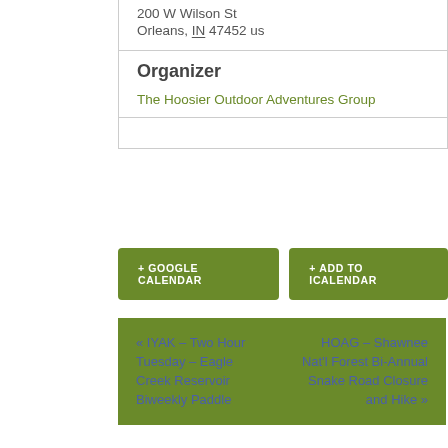200 W Wilson St
Orleans, IN 47452 us
Organizer
The Hoosier Outdoor Adventures Group
+ GOOGLE CALENDAR
+ ADD TO ICALENDAR
« IYAK – Two Hour Tuesday – Eagle Creek Reservoir Biweekly Paddle
HOAG – Shawnee Nat'l Forest Bi-Annual Snake Road Closure and Hike »
3rd Party Events